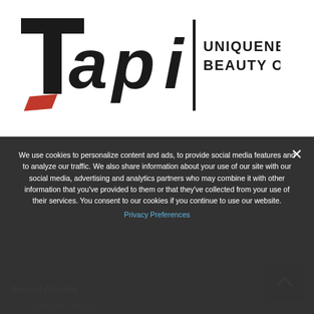[Figure (logo): Tapi logo with orange accent mark under the 'T', vertical bar separator, and tagline 'UNIQUENESS INSIDE BEAUTY ON TOP']
Recent Articles
Craft Spirits Weekly #...
Craft...
Craft Spirits Weekly #...
Craft Spirits Weekly #2...
Craft ...
We use cookies to personalize content and ads, to provide social media features and to analyze our traffic. We also share information about your use of our site with our social media, advertising and analytics partners who may combine it with other information that you've provided to them or that they've collected from your use of their services. You consent to our cookies if you continue to use our website.
Privacy Preferences